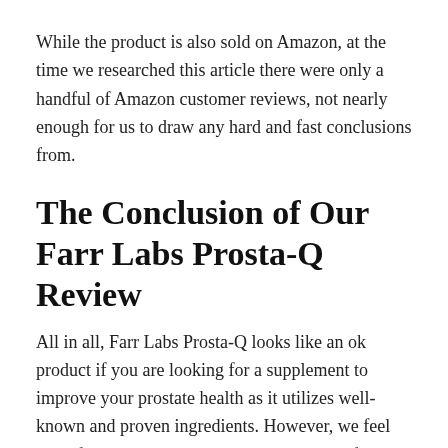While the product is also sold on Amazon, at the time we researched this article there were only a handful of Amazon customer reviews, not nearly enough for us to draw any hard and fast conclusions from.
The Conclusion of Our Farr Labs Prosta-Q Review
All in all, Farr Labs Prosta-Q looks like an ok product if you are looking for a supplement to improve your prostate health as it utilizes well-known and proven ingredients. However, we feel the refund policy is weak and not customer-friendly and the cost, even when bought in bulk, is high. We are not big fans of auto-refill programs, although the price is more reasonable if you go with it. Prosta-Q is on the right track, but we would recommend looking for a product with similar ingredients and either a better pricing structure or a